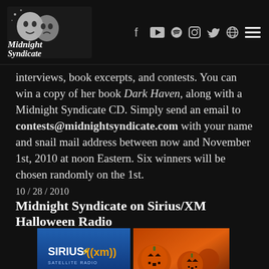Midnight Syndicate — navigation bar with logo and social icons
interviews, book excerpts, and contests. You can win a copy of her book Dark Haven, along with a Midnight Syndicate CD. Simply send an email to contests@midnightsyndicate.com with your name and snail mail address between now and November 1st, 2010 at noon Eastern. Six winners will be chosen randomly on the 1st.
10 / 28 / 2010
Midnight Syndicate on Sirius/XM Halloween Radio
[Figure (photo): Two side-by-side photos: left shows Sirius Satellite Radio XM logo on blue background; right shows glowing jack-o-lanterns pumpkins in orange light]